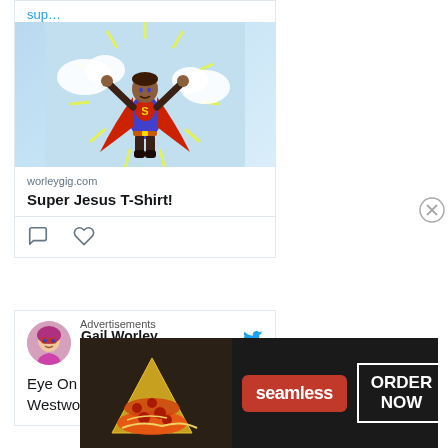sup…
[Figure (illustration): Cartoon superhero illustration on light blue background — figure in blue cape and red outfit with arms raised]
worleygig.com
Super Jesus T-Shirt!
[Figure (other): Comment and like action icons]
Gail Worley @.. · Aug 20
Eye On Design: Vivienne Westwood, Tartan Jacket
Advertisements
[Figure (other): Seamless food delivery advertisement banner with pizza image, Seamless logo in red, and ORDER NOW button]